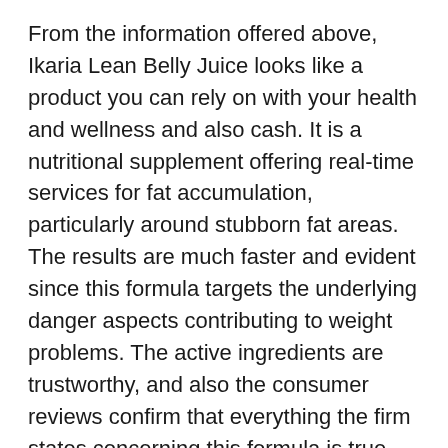From the information offered above, Ikaria Lean Belly Juice looks like a product you can rely on with your health and wellness and also cash. It is a nutritional supplement offering real-time services for fat accumulation, particularly around stubborn fat areas. The results are much faster and evident since this formula targets the underlying danger aspects contributing to weight problems. The active ingredients are trustworthy, and also the consumer reviews confirm that everything the firm states concerning this formula is true.
Every active ingredient inside this formula is tested as well as validated via independent screening, yet the supplement overall has not been set for a professional test. Usually, the supplements do not also require a test since they are never ever…